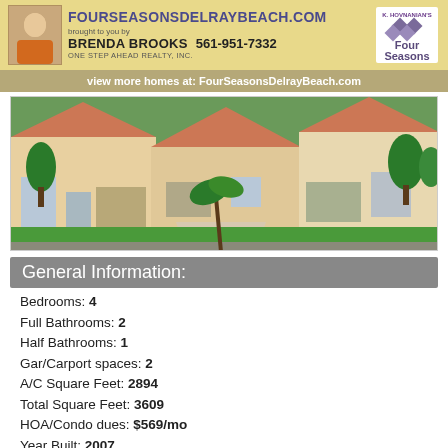FourSeasonsDelrayBeach.com brought to you by BRENDA BROOKS 561-951-7332 ONE STEP AHEAD REALTY, INC.
view more homes at: FourSeasonsDelrayBeach.com
[Figure (photo): Aerial/street view of three Florida residential homes with terracotta roofs, palm trees, and green lawns]
General Information:
Bedrooms: 4
Full Bathrooms: 2
Half Bathrooms: 1
Gar/Carport spaces: 2
A/C Square Feet: 2894
Total Square Feet: 3609
HOA/Condo dues: $569/mo
Year Built: 2007
Lot Size: 8466